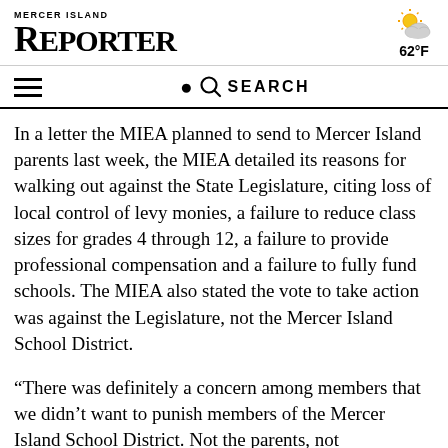MERCER ISLAND REPORTER
[Figure (illustration): Partly cloudy weather icon with sun and clouds]
62°F
SEARCH
In a letter the MIEA planned to send to Mercer Island parents last week, the MIEA detailed its reasons for walking out against the State Legislature, citing loss of local control of levy monies, a failure to reduce class sizes for grades 4 through 12, a failure to provide professional compensation and a failure to fully fund schools. The MIEA also stated the vote to take action was against the Legislature, not the Mercer Island School District.
“There was definitely a concern among members that we didn’t want to punish members of the Mercer Island School District. Not the parents, not the students.” MIEA members also held a discussion